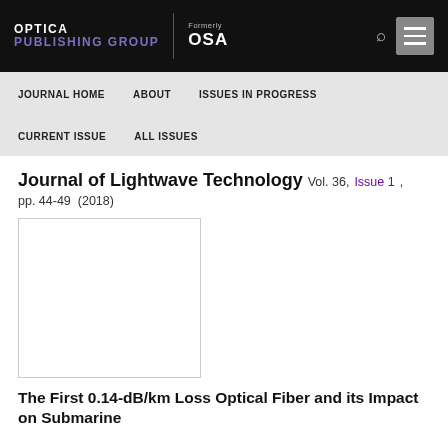OPTICA PUBLISHING GROUP | Formerly OSA
JOURNAL HOME   ABOUT   ISSUES IN PROGRESS   CURRENT ISSUE   ALL ISSUES
Journal of Lightwave Technology   Vol. 36,  Issue 1,  pp. 44-49  (2018)
[Figure (photo): White/blank article thumbnail image with border]
The First 0.14-dB/km Loss Optical Fiber and its Impact on Submarine